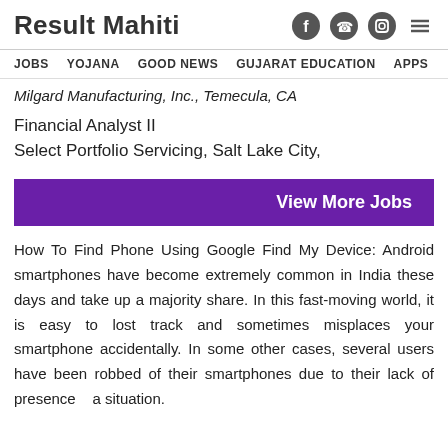Result Mahiti
JOBS  YOJANA  GOOD NEWS  GUJARAT EDUCATION  APPS
Milgard Manufacturing, Inc., Temecula, CA
Financial Analyst II
Select Portfolio Servicing, Salt Lake City,
[Figure (other): View More Jobs button — purple background with white bold text]
How To Find Phone Using Google Find My Device: Android smartphones have become extremely common in India these days and take up a majority share. In this fast-moving world, it is easy to lost track and sometimes misplaces your smartphone accidentally. In some other cases, several users have been robbed of their smartphones due to their lack of presence a situation.